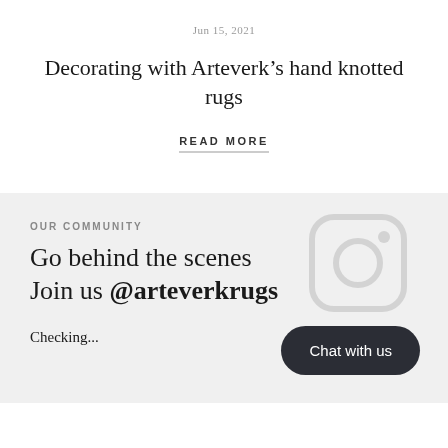Jun 15, 2021
Decorating with Arteverk’s hand knotted rugs
READ MORE
OUR COMMUNITY
Go behind the scenes
Join us @arteverkrugs
Checking...
Chat with us